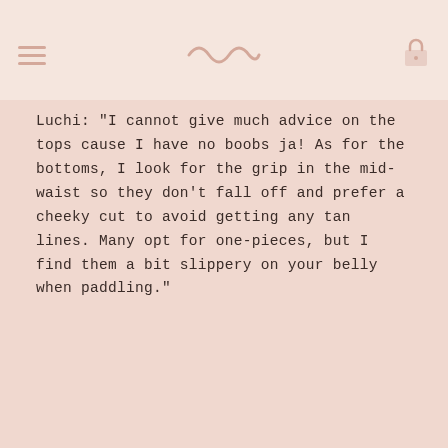Luchi: "I cannot give much advice on the tops cause I have no boobs ja! As for the bottoms, I look for the grip in the mid-waist so they don't fall off and prefer a cheeky cut to avoid getting any tan lines. Many opt for one-pieces, but I find them a bit slippery on your belly when paddling."